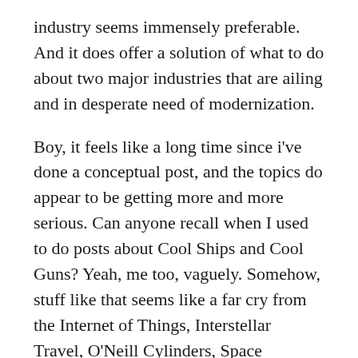industry seems immensely preferable. And it does offer a solution of what to do about two major industries that are ailing and in desperate need of modernization.
Boy, it feels like a long time since i've done a conceptual post, and the topics do appear to be getting more and more serious. Can anyone recall when I used to do posts about Cool Ships and Cool Guns? Yeah, me too, vaguely. Somehow, stuff like that seems like a far cry from the Internet of Things, Interstellar Travel, O'Neill Cylinders, Space Elevators, and timelines of the future. I guess this little blog of mine has been growing up in recent years, huh?
Stay tuned for more conceptual posts, hopefully something a little lighter and fluffier next time 😉